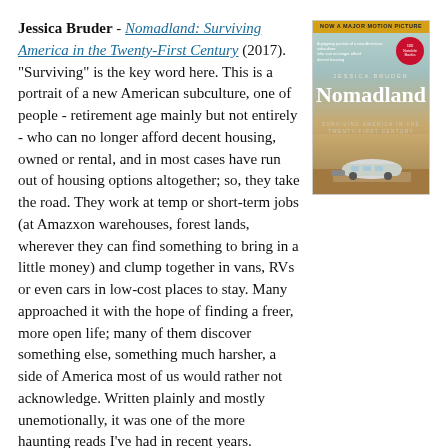Jessica Bruder - Nomadland: Surviving America in the Twenty-First Century (2017). "Surviving" is the key word here. This is a portrait of a new American subculture, one of people - retirement age mainly but not entirely - who can no longer afford decent housing, owned or rental, and in most cases have run out of housing options altogether; so, they take the road. They work at temp or short-term jobs (at Amazxon warehouses, forest lands, wherever they can find something to bring in a little money) and clump together in vans, RVs or even cars in low-cost places to stay. Many approached it with the hope of finding a freer, more open life; many of them discover something else, something much harsher, a side of America most of us would rather not acknowledge. Written plainly and mostly unemotionally, it was one of the more haunting reads I've had in recent years.
[Figure (photo): Book cover of Nomadland: Surviving America in the Twenty-First Century by Jessica Bruder. Features a silver Airstream trailer on a desert road. Top banner reads 'NOW A MAJOR MOTION PICTURE'. Has a red circular badge. Teal sky and desert landscape.]
Bryan Burrough, Chris Tomlinson, Jason Stanford - Forget the Alamo: The Rise and Fall of an American Myth (2021).
[Figure (photo): Book cover of Forget the Alamo: The Rise and Fall of an American Myth by Bryan Burrough, Chris Tomlinson, and Jason Stanford. Large red stylized text 'FORGET' on a dark blue background with authors' names at top.]